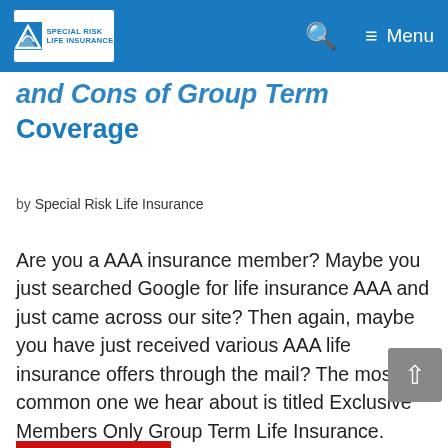Special Risk Life Insurance — Menu
and Cons of Group Term Coverage
by Special Risk Life Insurance
Are you a AAA insurance member?  Maybe you just searched Google for life insurance AAA and just came across our site?  Then again, maybe you have just received various AAA life insurance offers through the mail?  The most common one we hear about is titled Exclusive Members Only Group Term Life Insurance.  Typically it comes with a paper application and some information about the term life insurance offering.  Many AAA policy owners are solicited monthly. …